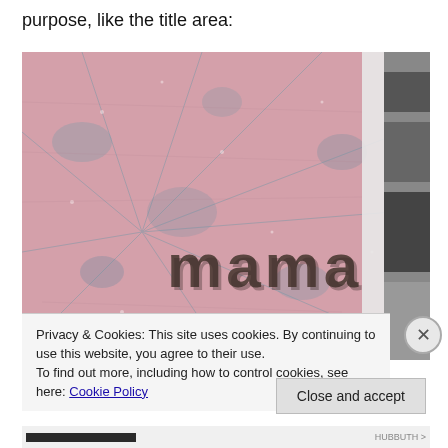purpose, like the title area:
[Figure (photo): Close-up photo of a pink textured scrapbook page with blue/grey stamped patterns and the word 'mama' embossed in dark brown 3D letters in the lower center. A white vertical strip is visible on the right edge, and a black-and-white photo is partially visible behind it.]
Privacy & Cookies: This site uses cookies. By continuing to use this website, you agree to their use.
To find out more, including how to control cookies, see here: Cookie Policy
Close and accept